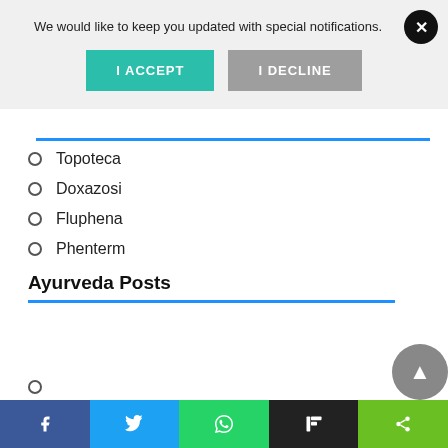We would like to keep you updated with special notifications.
I ACCEPT
I DECLINE
Topoteca
Doxazosi
Fluphena
Phenterm
Ayurveda Posts